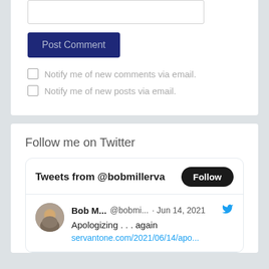[Figure (screenshot): Text input field (empty)]
Post Comment
Notify me of new comments via email.
Notify me of new posts via email.
Follow me on Twitter
Tweets from @bobmillerva
Bob M... @bobmi... · Jun 14, 2021
Apologizing . . . again
servantone.com/2021/06/14/apo...